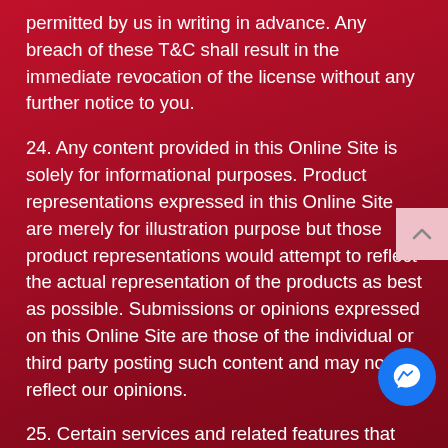permitted by us in writing in advance. Any breach of these T&C shall result in the immediate revocation of the license without any further notice to you.
24. Any content provided in this Online Site is solely for informational purposes. Product representations expressed in this Online Site are merely for illustration purpose but those product representations would attempt to reflect the actual representation of the products as best as possible. Submissions or opinions expressed on this Online Site are those of the individual or third party posting such content and may not reflect our opinions.
25. Certain services and related features that may be made available on the Online Site may require additional registration or subscription. Should you choose to register or subscribe for any such services or related features, you agree to provide accurate and current information about yourself...